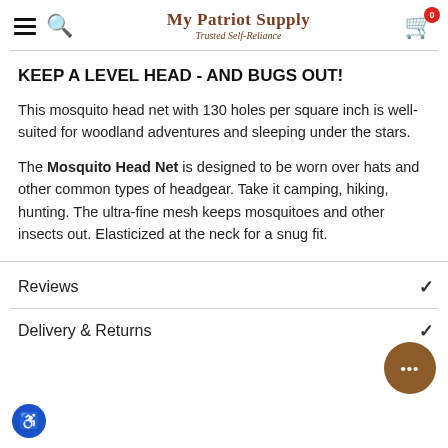My Patriot Supply — Trusted Self-Reliance
KEEP A LEVEL HEAD - AND BUGS OUT!
This mosquito head net with 130 holes per square inch is well-suited for woodland adventures and sleeping under the stars.
The Mosquito Head Net is designed to be worn over hats and other common types of headgear. Take it camping, hiking, hunting. The ultra-fine mesh keeps mosquitoes and other insects out. Elasticized at the neck for a snug fit.
Reviews
Delivery & Returns